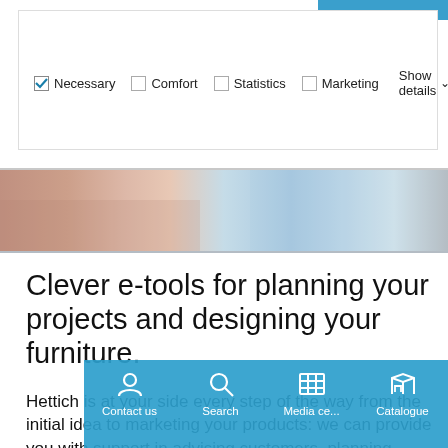[Figure (screenshot): Cookie consent bar with checkbox options: Necessary (checked), Comfort (unchecked), Statistics (unchecked), Marketing (unchecked), and Show details with dropdown arrow. Blue strip in top right corner.]
[Figure (photo): Hero image showing a hand near a keyboard or laptop, with blue and warm tones.]
Clever e-tools for planning your projects and designing your furniture.
Hettich is at your side every step of the way from the initial idea to marketing your products: we can provide you with support in advising customers, planning, procuring material and realisation. We can also help you with marketing and customer loyalty. Effectively using
[Figure (screenshot): Bottom navigation bar with Contact us, Search, Media ce..., and Catalogue icons on a blue background.]